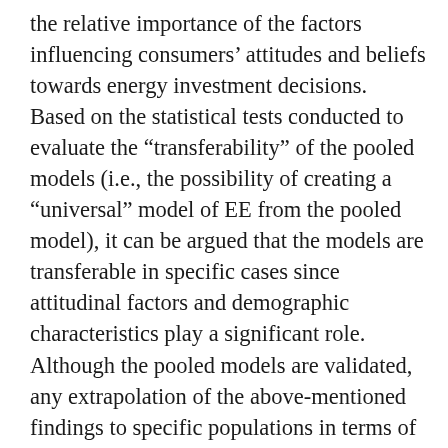the relative importance of the factors influencing consumers' attitudes and beliefs towards energy investment decisions. Based on the statistical tests conducted to evaluate the "transferability" of the pooled models (i.e., the possibility of creating a "universal" model of EE from the pooled model), it can be argued that the models are transferable in specific cases since attitudinal factors and demographic characteristics play a significant role. Although the pooled models are validated, any extrapolation of the above-mentioned findings to specific populations in terms of "space" (i.e., country) and "target" (e.g., sectors and technologies) should be approached with caution from a policy perspective.